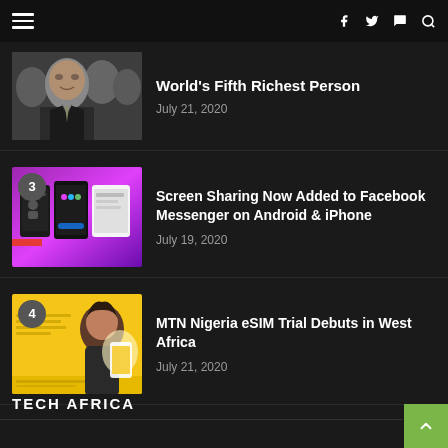Navigation header with hamburger menu and social icons (facebook, twitter, whatsapp, search)
[Figure (photo): Photo of a man in a suit (Elon Musk) at an event]
World's Fifth Richest Person
July 21, 2020
[Figure (screenshot): Screenshot of Facebook Messenger app showing colorful UI with purple gradient background on smartphones]
Screen Sharing Now Added to Facebook Messenger on Android & iPhone
July 19, 2020
[Figure (photo): Photo with yellow background showing MTN Nigeria eSIM advertisement with a woman using a smartphone]
MTN Nigeria eSIM Trial Debuts in West Africa
July 21, 2020
TECH AFRICA